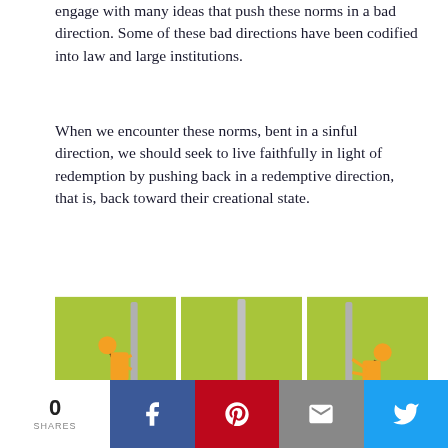engage with many ideas that push these norms in a bad direction. Some of these bad directions have been codified into law and large institutions.
When we encounter these norms, bent in a sinful direction, we should seek to live faithfully in light of redemption by pushing back in a redemptive direction, that is, back toward their creational state.
[Figure (illustration): Three-panel illustration showing: left panel (DIRECTION: GOOD) - person pushing a pole/bar toward intended order; center panel (STRUCTURE) - upright pole representing God's created order; right panel (DIRECTION: BAD) - person being pushed back by pole representing fallen human nature. Each panel has a green background.]
DIRECTION: GOOD
Bending a back toward its intended order
STRUCTURE
God's created order
DIRECTION: BAD
Bending it toward fallen human nature
0 SHARES